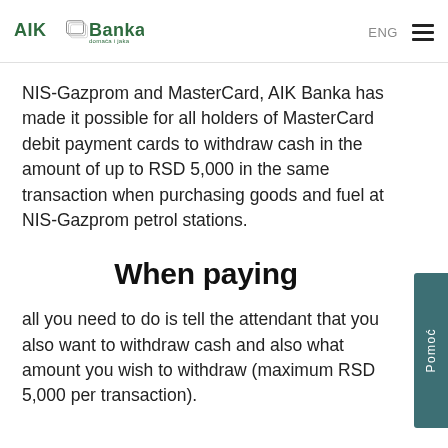AIK Banka domaća i jaka — ENG
NIS-Gazprom and MasterCard, AIK Banka has made it possible for all holders of MasterCard debit payment cards to withdraw cash in the amount of up to RSD 5,000 in the same transaction when purchasing goods and fuel at NIS-Gazprom petrol stations.
When paying
all you need to do is tell the attendant that you also want to withdraw cash and also what amount you wish to withdraw (maximum RSD 5,000 per transaction).